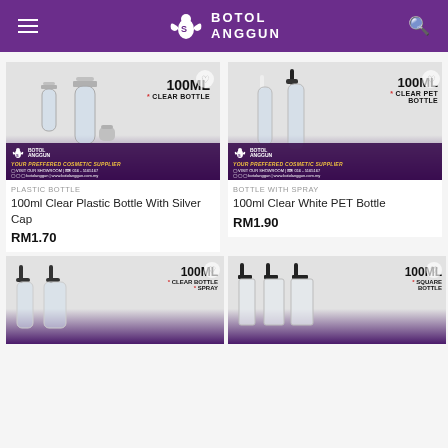BOTOL ANGGUN
[Figure (photo): 100ml Clear Bottle with silver cap product image]
PLASTIC BOTTLE
100ml Clear Plastic Bottle With Silver Cap
RM1.70
[Figure (photo): 100ml Clear PET Bottle with spray product image]
BOTTLE WITH SPRAY
100ml Clear White PET Bottle
RM1.90
[Figure (photo): 100ml Clear Bottle with Spray product image]
[Figure (photo): 100ml Square Bottle product image]